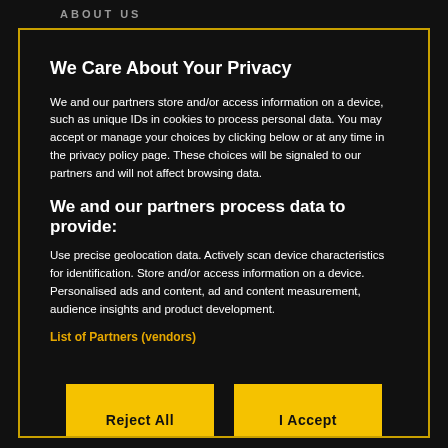ABOUT US
We Care About Your Privacy
We and our partners store and/or access information on a device, such as unique IDs in cookies to process personal data. You may accept or manage your choices by clicking below or at any time in the privacy policy page. These choices will be signaled to our partners and will not affect browsing data.
We and our partners process data to provide:
Use precise geolocation data. Actively scan device characteristics for identification. Store and/or access information on a device. Personalised ads and content, ad and content measurement, audience insights and product development.
List of Partners (vendors)
Reject All
I Accept
Show Purposes